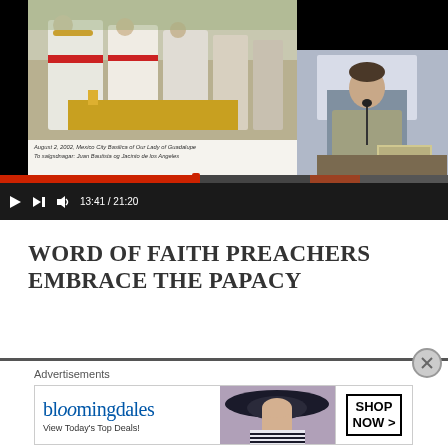[Figure (screenshot): Video player screenshot showing a Catholic religious ceremony on the left panel with people in white vestments and colorful garments, and a speaker at a podium on the right panel. Video controls showing progress bar at 13:41 / 21:20.]
August 2, 2002, Mexico City Basilica of Our Lady of Guadalupe
To salgsdnagar: Juan Bautista og Jacinto de los Angeles
WORD OF FAITH PREACHERS EMBRACE THE PAPACY
Advertisements
[Figure (screenshot): Bloomingdales advertisement banner. Logo reads 'bloomingdales' with tagline 'View Today's Top Deals!' and a photo of a woman in a wide-brim hat. Button reads 'SHOP NOW >']